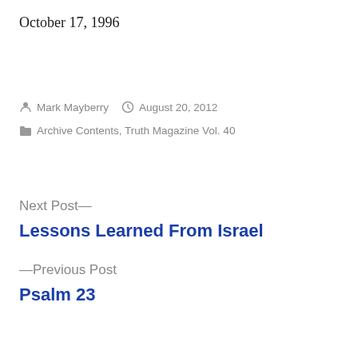October 17, 1996
Mark Mayberry   August 20, 2012
Archive Contents, Truth Magazine Vol. 40
Next Post—
Lessons Learned From Israel
—Previous Post
Psalm 23